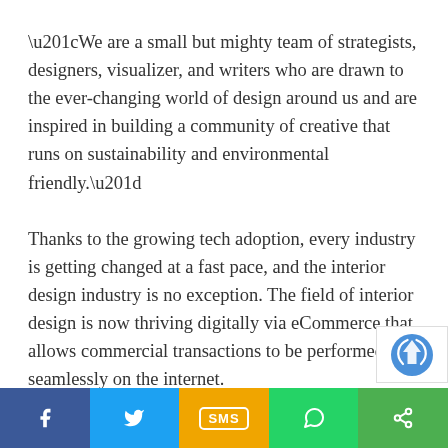“We are a small but mighty team of strategists, designers, visualizer, and writers who are drawn to the ever-changing world of design around us and are inspired in building a community of creative that runs on sustainability and environmental friendly.”
Thanks to the growing tech adoption, every industry is getting changed at a fast pace, and the interior design industry is no exception. The field of interior design is now thriving digitally via eCommerce that allows commercial transactions to be performed seamlessly on the internet.
How do you look at ArchiMAT? Have something to add to this article? Please feel free to offer your thoughts i...